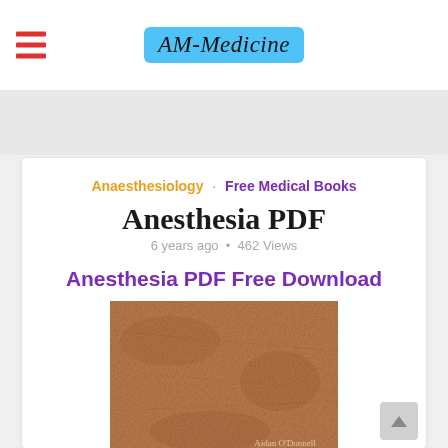AM-Medicine
Anaesthesiology · Free Medical Books
Anesthesia PDF
6 years ago • 462 Views
Anesthesia PDF Free Download
[Figure (photo): Book cover of Anesthesia by Aidan O'Donnell, showing a brown textured leather-like surface with the author name 'Aidan O'Donnell' and title 'ANAESTHESIA' partially visible at the bottom.]